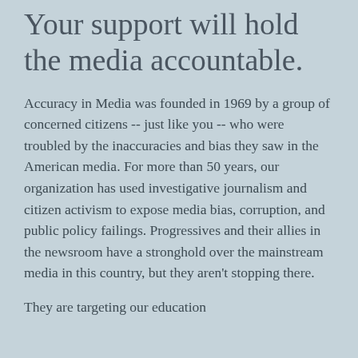Your support will hold the media accountable.
Accuracy in Media was founded in 1969 by a group of concerned citizens -- just like you -- who were troubled by the inaccuracies and bias they saw in the American media. For more than 50 years, our organization has used investigative journalism and citizen activism to expose media bias, corruption, and public policy failings. Progressives and their allies in the newsroom have a stronghold over the mainstream media in this country, but they aren't stopping there.
They are targeting our education